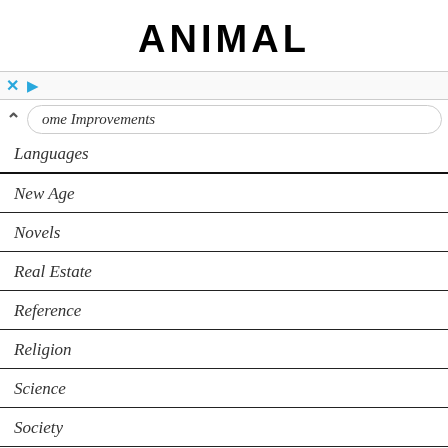ANIMAL
Home Improvements
Languages
New Age
Novels
Real Estate
Reference
Religion
Science
Society